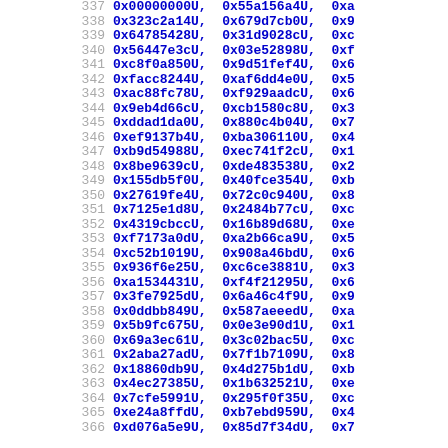Code listing lines 337-366 showing hexadecimal constant arrays with line numbers and hex values in format 0xXXXXXXXXU